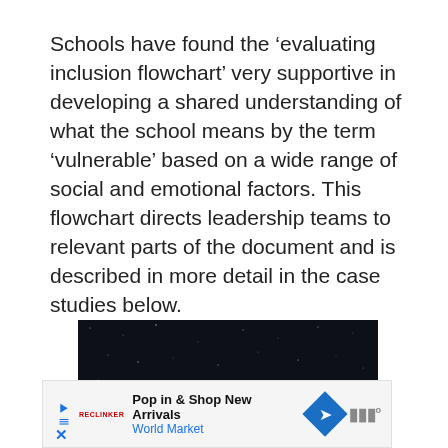Schools have found the ‘evaluating inclusion flowchart’ very supportive in developing a shared understanding of what the school means by the term ‘vulnerable’ based on a wide range of social and emotional factors. This flowchart directs leadership teams to relevant parts of the document and is described in more detail in the case studies below.
[Figure (photo): A dark/black image with scattered light speckles, appearing like a night sky or dark textured background.]